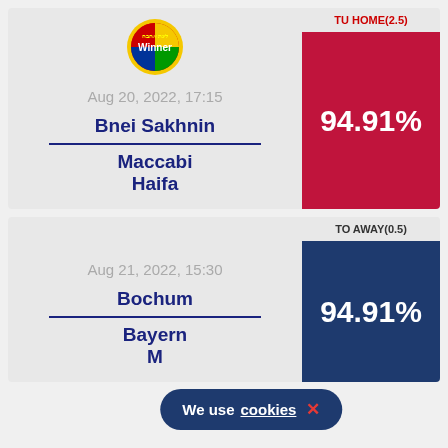[Figure (logo): Winner sports betting logo - circular with Hebrew text and colorful design]
TU HOME(2.5)
Aug 20, 2022, 17:15
94.91%
Bnei Sakhnin
Maccabi Haifa
TO AWAY(0.5)
Aug 21, 2022, 15:30
94.91%
Bochum
Bayern M
We use cookies ×